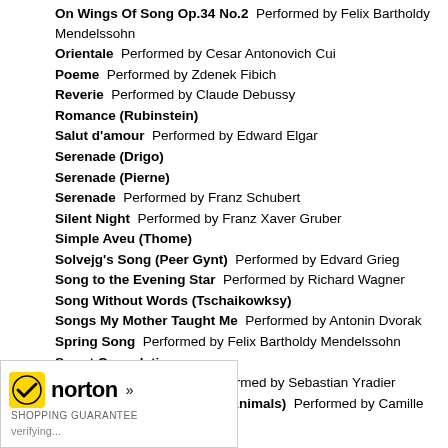On Wings Of Song Op.34 No.2  Performed by Felix Bartholdy Mendelssohn
Orientale  Performed by Cesar Antonovich Cui
Poeme  Performed by Zdenek Fibich
Reverie  Performed by Claude Debussy
Romance (Rubinstein)
Salut d'amour  Performed by Edward Elgar
Serenade (Drigo)
Serenade (Pierne)
Serenade  Performed by Franz Schubert
Silent Night  Performed by Franz Xaver Gruber
Simple Aveu (Thome)
Solvejg's Song (Peer Gynt)  Performed by Edvard Grieg
Song to the Evening Star  Performed by Richard Wagner
Song Without Words (Tschaikowksy)
Songs My Mother Taught Me  Performed by Antonin Dvorak
Spring Song  Performed by Felix Bartholdy Mendelssohn
Sweet Consolation
The Dove (La Paloma)  Performed by Sebastian Yradier
The Swan (Carnival Of The Animals)  Performed by Camille Saint-Saens
...emember Me (Balfe)
...n Den Fruhling)  Performed by Edvard Grieg
[Figure (logo): Norton Shopping Guarantee badge with checkmark logo and 'verifying...' text]